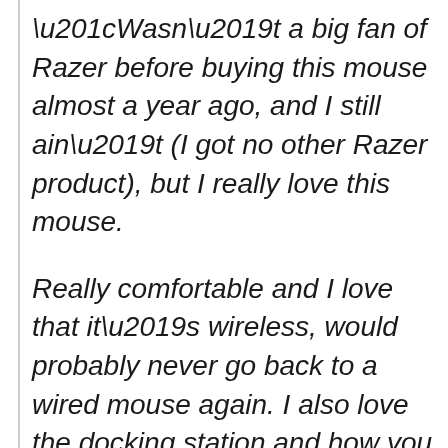“Wasn’t a big fan of Razer before buying this mouse almost a year ago, and I still ain’t (I got no other Razer product), but I really love this mouse.
Really comfortable and I love that it’s wireless, would probably never go back to a wired mouse again. I also love the docking station and how you can connect the wireless receiver to it.
The only nitpick I can think of is that sometimes if I don’t move...